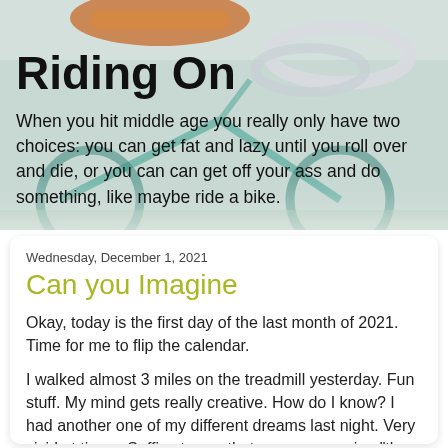[Figure (photo): Background hero image of a bicycle seat and handlebars with soft blurred background in teal and beige tones]
Riding On
When you hit middle age you really only have two choices: you can get fat and lazy until you roll over and die, or you can can get off your ass and do something, like maybe ride a bike.
Wednesday, December 1, 2021
Can you Imagine
Okay, today is the first day of the last month of 2021.  Time for me to flip the calendar.
I walked almost 3 miles on the treadmill yesterday.  Fun stuff.  My mind gets really creative.  How do I know?  I had another one of my different dreams last night.  Very vivid at times.  Suffice to say that someone saying "the town is being invaded by naked robot men," indicates how memorable it was.